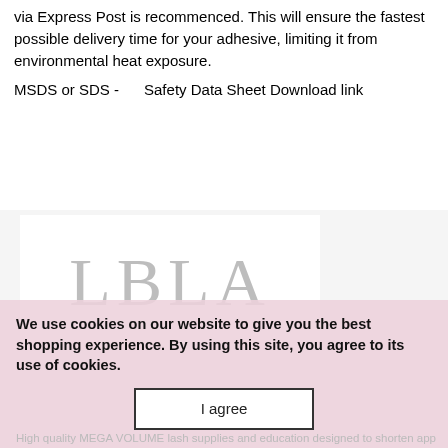via Express Post is recommenced. This will ensure the fastest possible delivery time for your adhesive, limiting it from environmental heat exposure.
MSDS or SDS -      Safety Data Sheet Download link
[Figure (logo): LBLA logo text in large serif letters on white background]
We use cookies on our website to give you the best shopping experience. By using this site, you agree to its use of cookies.
I agree
High quality MEGA VOLUME lash supplies and education designed to shorten application time for lash professionals...